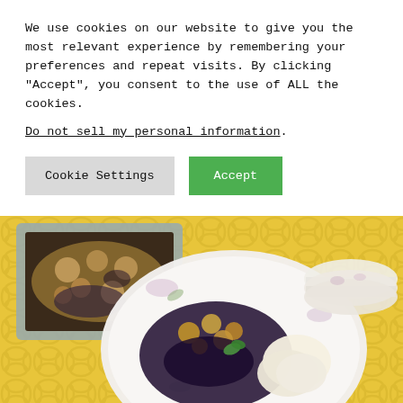We use cookies on our website to give you the most relevant experience by remembering your preferences and repeat visits. By clicking “Accept”, you consent to the use of ALL the cookies.
Do not sell my personal information.
[Figure (photo): A serving of blueberry cobbler on a floral china plate with a scoop of vanilla ice cream, with the baking pan in the background, all on a yellow geometric patterned tablecloth.]